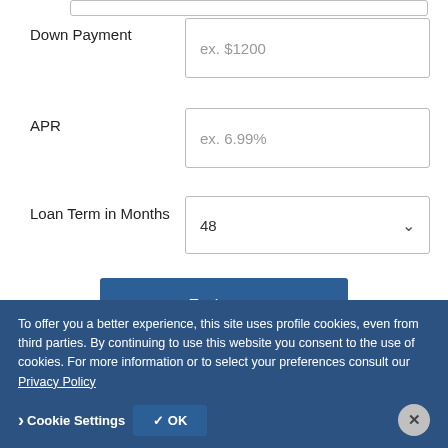Down Payment
ex. $1200
APR
ex. 6.99%
Loan Term in Months
48
Estimate
Payment Shown Here
To offer you a better experience, this site uses profile cookies, even from third parties. By continuing to use this website you consent to the use of cookies. For more information or to select your preferences consult our Privacy Policy
Cookie Settings
✓ OK